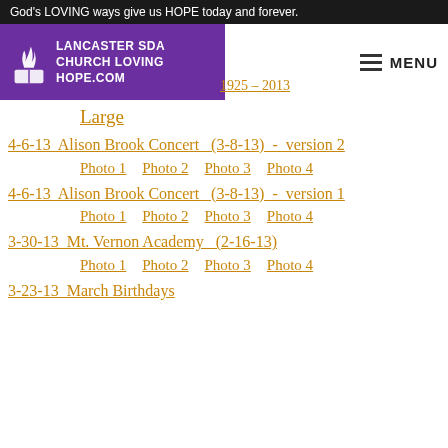God's LOVING ways give us HOPE today and forever.
[Figure (logo): Lancaster SDA Church Loving Hope logo with flame/book icon on purple background]
MENU
1925 - 2013
Large
4-6-13  Alison Brook Concert   (3-8-13)  -  version 2
Photo 1    Photo 2    Photo 3    Photo 4
4-6-13  Alison Brook Concert   (3-8-13)  -  version 1
Photo 1    Photo 2    Photo 3    Photo 4
3-30-13  Mt. Vernon Academy   (2-16-13)
Photo 1    Photo 2    Photo 3    Photo 4
3-23-13  March Birthdays